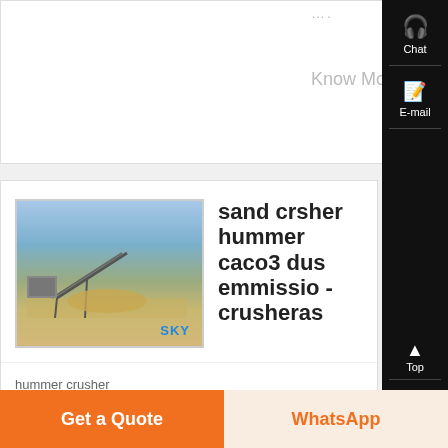....
Know Mo
[Figure (photo): Sand crusher / quarry machinery site with SKY logo watermark]
sand crsher hummer caco3 dust emmission - crusheras
hummer crusher
sand crsher hum
caco3 dust
Get a Quote
WhatsApp